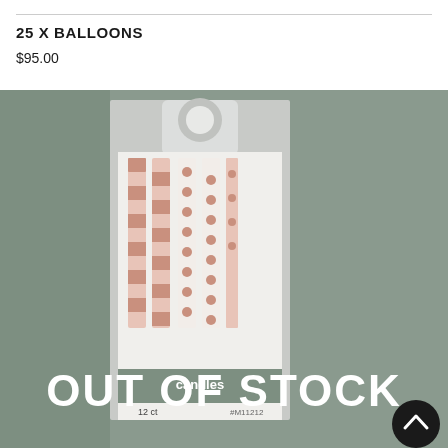25 X BALLOONS
$95.00
[Figure (photo): Product photo of birthday candles in packaging showing striped and polka-dot candles, with an overlay reading 'OUT OF STOCK'. Package label reads 'candles 12 ct #M11212'.]